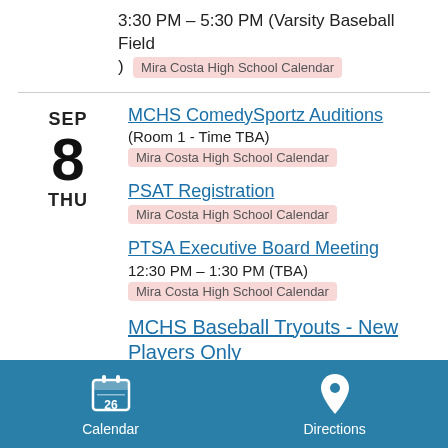3:30 PM  –  5:30 PM (Varsity Baseball Field )
Mira Costa High School Calendar
SEP
8
THU
MCHS ComedySportz Auditions
(Room 1 - Time TBA)
Mira Costa High School Calendar
PSAT Registration
Mira Costa High School Calendar
PTSA Executive Board Meeting
12:30 PM  –  1:30 PM (TBA)
Mira Costa High School Calendar
MCHS Baseball Tryouts - New Players Only
Calendar   Directions